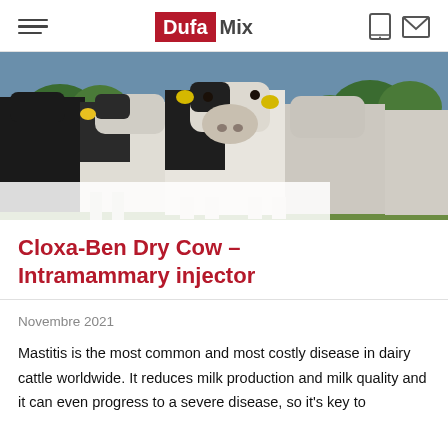DufaMix
[Figure (photo): A group of Holstein dairy cows standing in a green field, photographed from a low angle looking up at their faces. The cows have yellow ear tags. Background shows green trees and blue sky.]
Cloxa-Ben Dry Cow – Intramammary injector
Novembre 2021
Mastitis is the most common and most costly disease in dairy cattle worldwide. It reduces milk production and milk quality and it can even progress to a severe disease, so it's key to